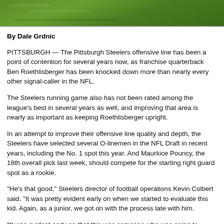[Figure (photo): Green football field turf photo strip at top of page]
By Dale Grdnic
PITTSBURGH — The Pittsburgh Steelers offensive line has been a point of contention for several years now, as franchise quarterback Ben Roethlisberger has been knocked down more than nearly every other signal-caller in the NFL.
The Steelers running game also has not been rated among the league's best in several years as well, and improving that area is nearly as important as keeping Roethlisberger upright.
In an attempt to improve their offensive line quality and depth, the Steelers have selected several O-linemen in the NFL Draft in recent years, including the No. 1 spot this year. And Maurkice Pouncy, the 18th overall pick last week, should compete for the starting right guard spot as a rookie.
"He's that good," Steelers director of football operations Kevin Colbert said. "It was pretty evident early on when we started to evaluate this kid. Again, as a junior, we got on with the process late with him.
"It was evident early on that this was someone who was going to